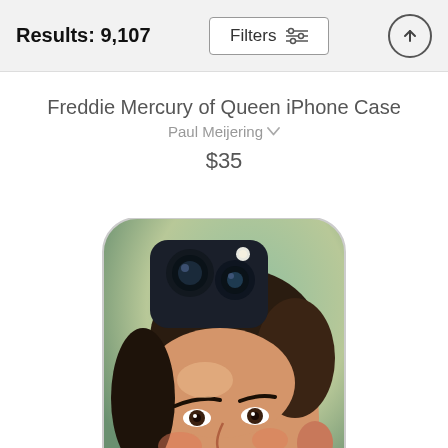Results: 9,107
Freddie Mercury of Queen iPhone Case
Paul Meijering
$35
[Figure (photo): iPhone case featuring a painted portrait of Freddie Mercury of Queen, showing his face with dark hair, mustache, and expressive eyes on a colorful background. The phone case has a visible camera module cutout at top.]